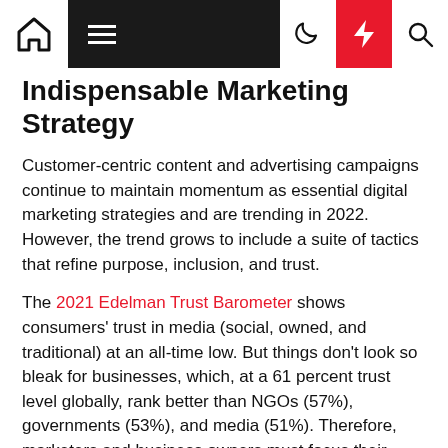Navigation bar with home, menu, moon, bolt, and search icons
Indispensable Marketing Strategy
Customer-centric content and advertising campaigns continue to maintain momentum as essential digital marketing strategies and are trending in 2022. However, the trend grows to include a suite of tactics that refine purpose, inclusion, and trust.
The 2021 Edelman Trust Barometer shows consumers' trust in media (social, owned, and traditional) at an all-time low. But things don't look so bleak for businesses, which, at a 61 percent trust level globally, rank better than NGOs (57%), governments (53%), and media (51%). Therefore, marketers and business owners must focus their